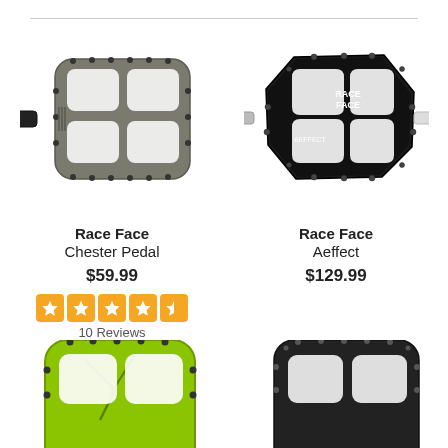[Figure (photo): Race Face Chester Pedal - grey flat MTB pedal with black pins]
[Figure (photo): Race Face Aeffect - black aluminum flat MTB pedal with silver axle]
Race Face
Chester Pedal
Race Face
Aeffect
$59.99
$129.99
[Figure (other): 5 orange star rating icons]
10 Reviews
[Figure (photo): Lime green flat MTB pedal, partially visible at bottom]
[Figure (photo): Black flat MTB pedal, partially visible at bottom]